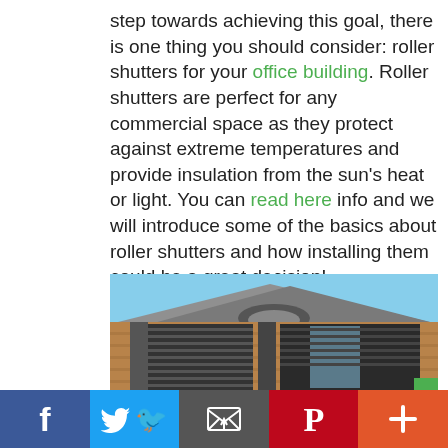step towards achieving this goal, there is one thing you should consider: roller shutters for your office building. Roller shutters are perfect for any commercial space as they protect against extreme temperatures and provide insulation from the sun's heat or light. You can read here info and we will introduce some of the basics about roller shutters and how installing them could be a great decision!
[Figure (photo): Exterior photo of a brick office building with dark roller shutters installed on the windows and entrance, with a corrugated metal roof and blue sky background.]
[Figure (infographic): Social share bar with five buttons: Facebook (blue), Twitter (light blue), Email (dark grey), Pinterest (red), and a plus/more button (orange-red).]